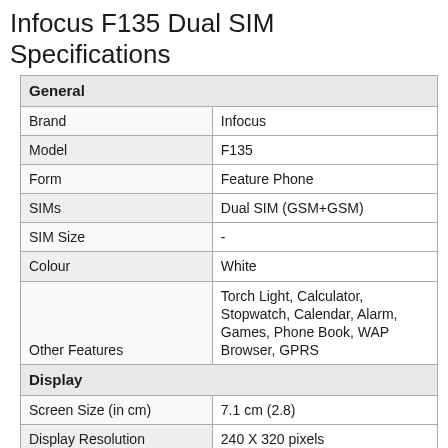Infocus F135 Dual SIM Specifications
| Feature | Value |
| --- | --- |
| General |  |
| Brand | Infocus |
| Model | F135 |
| Form | Feature Phone |
| SIMs | Dual SIM (GSM+GSM) |
| SIM Size | - |
| Colour | White |
| Other Features | Torch Light, Calculator, Stopwatch, Calendar, Alarm, Games, Phone Book, WAP Browser, GPRS |
| Display |  |
| Screen Size (in cm) | 7.1 cm (2.8) |
| Display Resolution | 240 X 320 pixels |
| Display Type | QVGA |
| Software |  |
| OS Version | Others |
| Camera |  |
| Rear Camera | 1.3 MP |